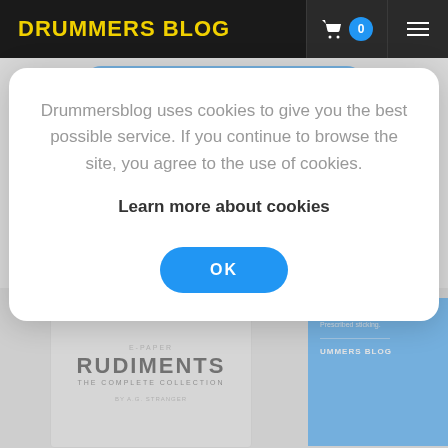DRUMMERS BLOG
Drummersblog uses cookies to give you the best possible service. If you continue to browse the site, you agree to the use of cookies.
Learn more about cookies
OK
[Figure (screenshot): Bottom portion showing book cover for 'Rudiments: The Complete Collection' e-paper and a blue panel with text about established rhythm and Drummers Blog branding]